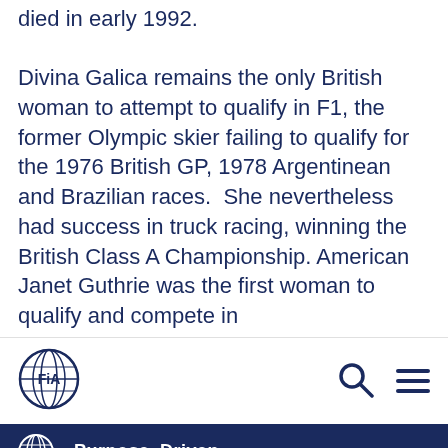died in early 1992.

Divina Galica remains the only British woman to attempt to qualify in F1, the former Olympic skier failing to qualify for the 1976 British GP, 1978 Argentinean and Brazilian races.  She nevertheless had success in truck racing, winning the British Class A Championship. American Janet Guthrie was the first woman to qualify and compete in
[Figure (logo): FIA logo - globe with FIA text]
[Figure (other): Search icon (magnifying glass)]
[Figure (other): Hamburger menu icon (three horizontal lines)]
FIA >> Purpose>>Driven ...
600, she finished 15th, becoming the first woman to compete in a NASCAR Winston Cup super speedway race. The following year she contested her first Daytona 500, finishing 12th after blowing two cylinders with 10 laps remaining. She nevertheless was honoured with the 'Top